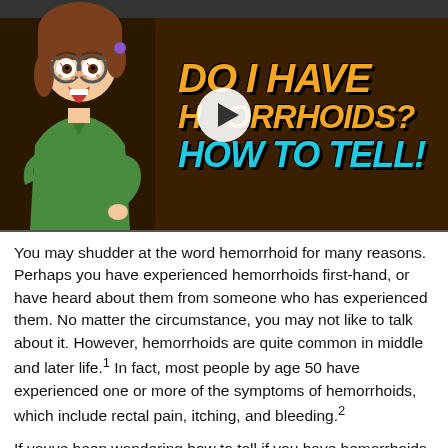[Figure (screenshot): Video thumbnail showing a cartoon woman with glasses looking shocked, beside bold text reading 'DO I HAVE HEMORRHOIDS? HOW TO TELL!' with a play button overlay. Background is dark brown/black.]
You may shudder at the word hemorrhoid for many reasons. Perhaps you have experienced hemorrhoids first-hand, or have heard about them from someone who has experienced them. No matter the circumstance, you may not like to talk about it. However, hemorrhoids are quite common in middle and later life.1 In fact, most people by age 50 have experienced one or more of the symptoms of hemorrhoids, which include rectal pain, itching, and bleeding.2
If youve been wondering how to tell if you have hemorrhoids, here we explain more about the common causes and